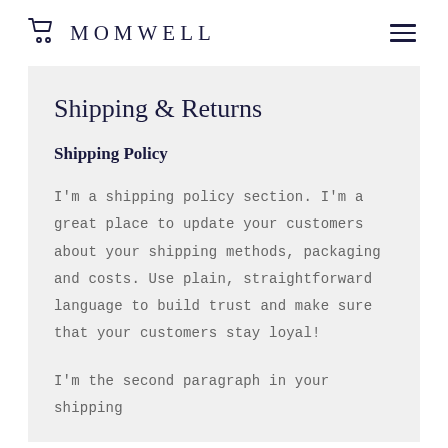MOMWELL
Shipping & Returns
Shipping Policy
I'm a shipping policy section. I'm a great place to update your customers about your shipping methods, packaging and costs. Use plain, straightforward language to build trust and make sure that your customers stay loyal!
I'm the second paragraph in your shipping